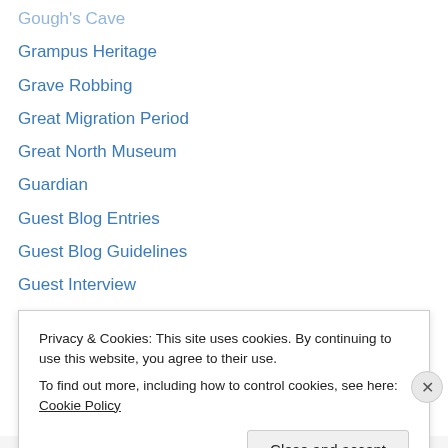Gough's Cave
Grampus Heritage
Grave Robbing
Great Migration Period
Great North Museum
Guardian
Guest Blog Entries
Guest Blog Guidelines
Guest Interview
Guest Post
Hartlepool Bombardment
Hartlepool Cultural Services
Hazelnut Relations
Headland Archaeology
Privacy & Cookies: This site uses cookies. By continuing to use this website, you agree to their use.
To find out more, including how to control cookies, see here: Cookie Policy
Close and accept